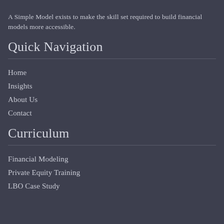A Simple Model exists to make the skill set required to build financial models more accessible.
Quick Navigation
Home
Insights
About Us
Contact
Curriculum
Financial Modeling
Private Equity Training
LBO Case Study